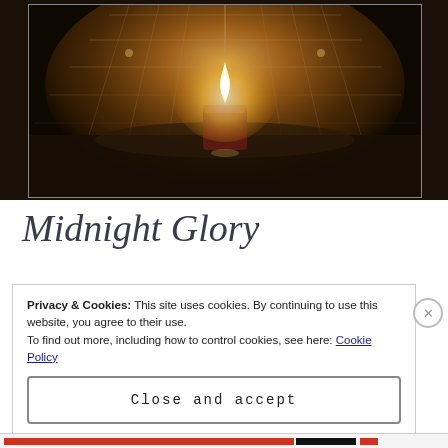[Figure (photo): A red pillar candle burning in a dark tiled corner, with warm amber light illuminating the surrounding tiles. The candle is centered in a bathtub corner with reflections visible.]
Midnight Glory
Privacy & Cookies: This site uses cookies. By continuing to use this website, you agree to their use.
To find out more, including how to control cookies, see here: Cookie Policy
Close and accept